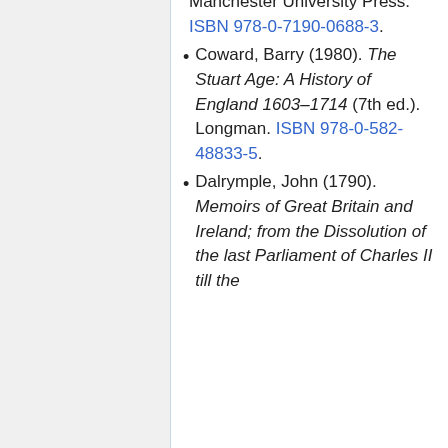Manchester University Press. ISBN 978-0-7190-0688-3.
Coward, Barry (1980). The Stuart Age: A History of England 1603–1714 (7th ed.). Longman. ISBN 978-0-582-48833-5.
Dalrymple, John (1790). Memoirs of Great Britain and Ireland; from the Dissolution of the last Parliament of Charles II till the